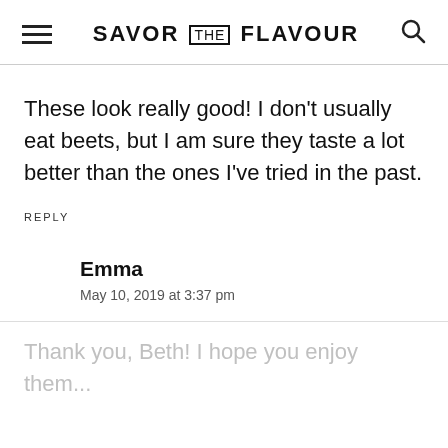SAVOR THE FLAVOUR
These look really good! I don't usually eat beets, but I am sure they taste a lot better than the ones I've tried in the past.
REPLY
Emma
May 10, 2019 at 3:37 pm
Thank you, Beth! I hope you enjoy them...